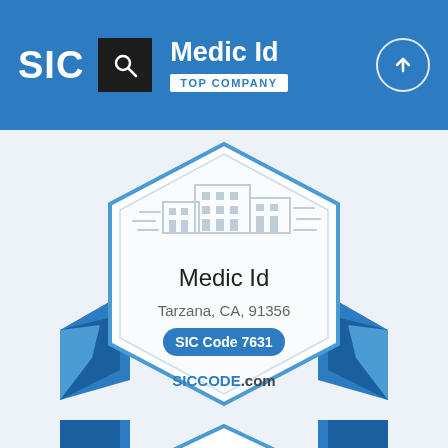SIC  Medic Id  TOP COMPANY
[Figure (infographic): Award badge / seal with hexagonal border containing a building icon, company name 'Medic Id', location 'Tarzana, CA, 91356', SIC Code 7631 pill badge, and SICCODE.com branding, with blue ribbon tails behind the badge. A second partial badge is visible at the bottom of the page.]